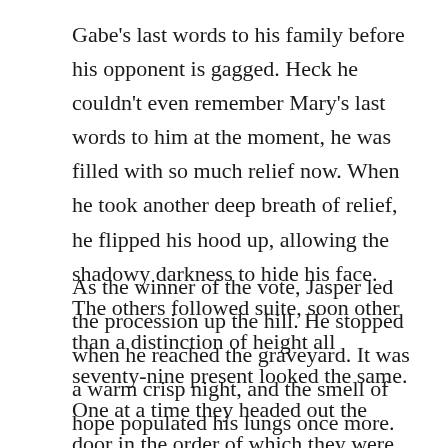Gabe's last words to his family before his opponent is gagged. Heck he couldn't even remember Mary's last words to him at the moment, he was filled with so much relief now. When he took another deep breath of relief, he flipped his hood up, allowing the shadowy darkness to hide his face. The others followed suite, soon other than a distinction of height all seventy-nine present looked the same. One at a time they headed out the door in the order of which they were seated.
As the winner of the vote, Jasper led the procession up the hill. He stopped when he reached the graveyard. It was a warm crisp night, and the smell of hope populated his lungs once more. The graves of their ancestors formed concentric circles around a table of marble.